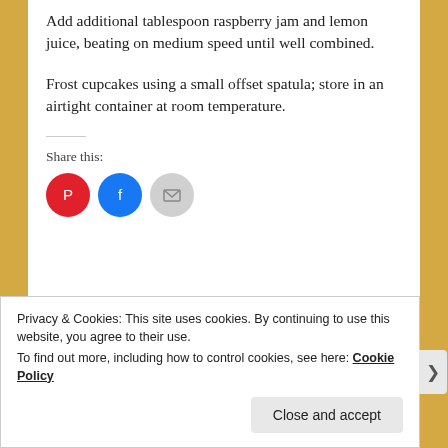Add additional tablespoon raspberry jam and lemon juice, beating on medium speed until well combined.
Frost cupcakes using a small offset spatula; store in an airtight container at room temperature.
Share this:
Privacy & Cookies: This site uses cookies. By continuing to use this website, you agree to their use.
To find out more, including how to control cookies, see here: Cookie Policy
Close and accept